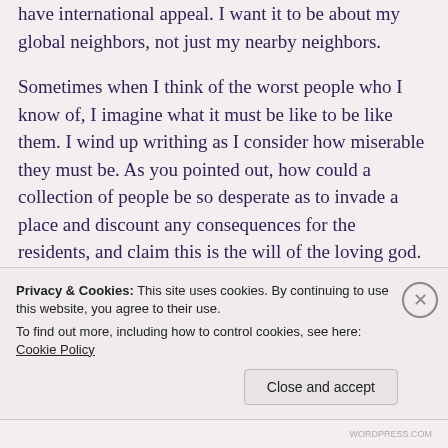have international appeal. I want it to be about my global neighbors, not just my nearby neighbors.
Sometimes when I think of the worst people who I know of, I imagine what it must be like to be like them. I wind up writhing as I consider how miserable they must be. As you pointed out, how could a collection of people be so desperate as to invade a place and discount any consequences for the residents, and claim this is the will of the loving god.
Privacy & Cookies: This site uses cookies. By continuing to use this website, you agree to their use. To find out more, including how to control cookies, see here: Cookie Policy
Close and accept